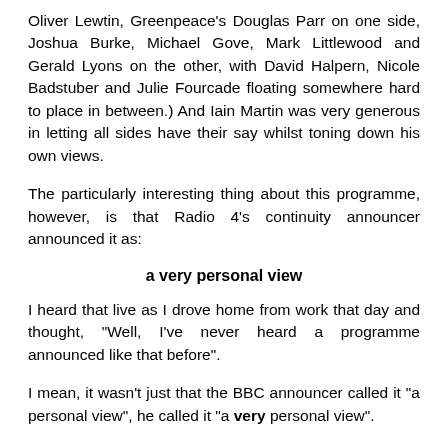Oliver Lewtin, Greenpeace's Douglas Parr on one side, Joshua Burke, Michael Gove, Mark Littlewood and Gerald Lyons on the other, with David Halpern, Nicole Badstuber and Julie Fourcade floating somewhere hard to place in between.) And Iain Martin was very generous in letting all sides have their say whilst toning down his own views.
The particularly interesting thing about this programme, however, is that Radio 4's continuity announcer announced it as:
a very personal view
I heard that live as I drove home from work that day and thought, "Well, I've never heard a programme announced like that before".
I mean, it wasn't just that the BBC announcer called it "a personal view", he called it "a very personal view".
Have you ever heard a Radio 4 programme announced like that before (and, more importantly, can you name it)?